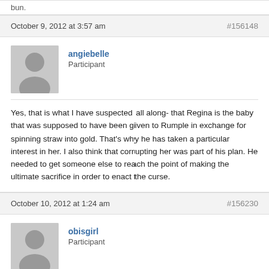bun.
October 9, 2012 at 3:57 am   #156148
angiebelle
Participant
Yes, that is what I have suspected all along- that Regina is the baby that was supposed to have been given to Rumple in exchange for spinning straw into gold. That's why he has taken a particular interest in her. I also think that corrupting her was part of his plan. He needed to get someone else to reach the point of making the ultimate sacrifice in order to enact the curse.
October 10, 2012 at 1:24 am   #156230
obisgirl
Participant
I think Rumpel was referring to the story of “The Miller’s Daughter,” > which was confirmed that Cora is the miller’s daughter from the story which makes the daughter, Cora almost gave up.